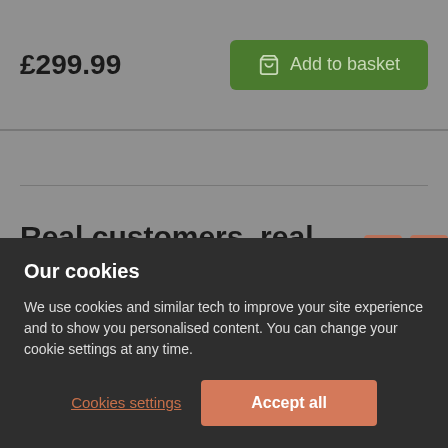£299.99
Add to basket
Real customers, real homes
Show us how you've transformed your home! Tag us on
Our cookies
We use cookies and similar tech to improve your site experience and to show you personalised content. You can change your cookie settings at any time.
Cookies settings
Accept all